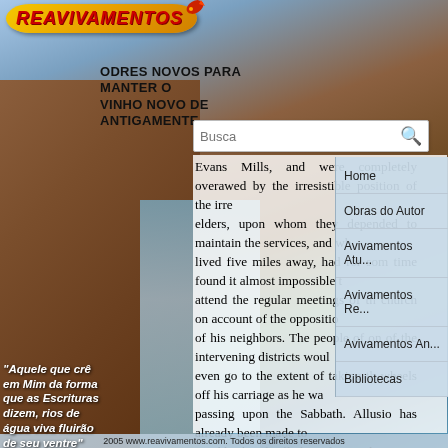[Figure (logo): Reavivamentos logo: yellow/gold ellipse with red italic bold text REAVIVAMENTOS and small rocket graphic on top right]
ODRES NOVOS PARA MANTER O VINHO NOVO DE ANTIGAMENTE
[Figure (screenshot): Search bar with placeholder text 'Busca' and search icon on a website]
[Figure (screenshot): Right navigation panel with menu items: Home, Obras do Autor, Avivamentos Atu..., Avivamentos Re..., Avivamentos An..., Bibliotecas]
Evans Mills, and were completely overawed by the irresistible position of the irreplaceable elders, upon whom they depended to maintain the services, and who lived five miles away, had for some time found it almost impossible to attend the regular meetings of the church on account of the opposition of his neighbors. The people of one of the intervening districts would even go to the extent of taking the wheels off his carriage as he was passing upon the Sabbath. Allusion has already been made to a neighborhood called "Sodom." This was in the outskirts of Antwerp, and named because of its resemblance in character to the Sodom of old; and the comparison was completed by the residence in of a solitary pious man, who wa
“Aquele que crê em Mim da forma que as Escrituras dizem, rios de água viva fluirão de seu ventre” João 7:38
2005 www.reavivamentos.com. Todos os direitos reservados